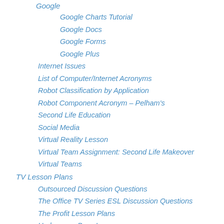Google
Google Charts Tutorial
Google Docs
Google Forms
Google Plus
Internet Issues
List of Computer/Internet Acronyms
Robot Classification by Application
Robot Component Acronym – Pelham's
Second Life Education
Social Media
Virtual Reality Lesson
Virtual Team Assignment: Second Life Makeover
Virtual Teams
TV Lesson Plans
Outsourced Discussion Questions
The Office TV Series ESL Discussion Questions
The Profit Lesson Plans
Undercover Boss Lessons
Ukiah